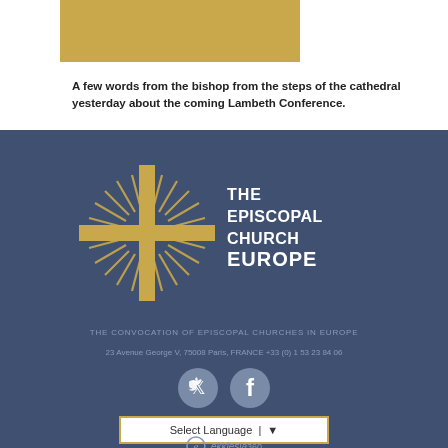A few words from the bishop from the steps of the cathedral yesterday about the coming Lambeth Conference.
[Figure (logo): The Episcopal Church Europe logo with gold cross/sunburst and white text: THE EPISCOPAL CHURCH EUROPE]
THE CONVOCATION OF EPISCOPAL CHURCHES IN EUROPE
23 Avenue George V, 75008 Paris, FRANCE +33 (0) 1 53 23 84 06
[Figure (other): Twitter and Facebook social media icon circles]
Select Language ▼
ekklesia360